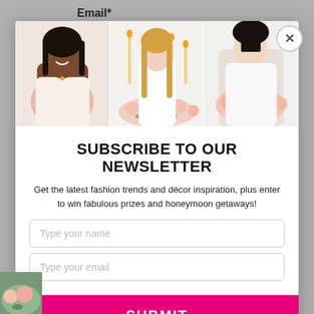Email*
[Figure (photo): Three women with floral arrangements: left photo shows a smiling Black woman holding a bouquet of pink and white flowers; center photo shows a blonde woman in a white dress near a candle and floral table setting; right photo shows an Asian woman holding a white teapot near pink and peach roses.]
SUBSCRIBE TO OUR NEWSLETTER
Get the latest fashion trends and décor inspiration, plus enter to win fabulous prizes and honeymoon getaways!
Type your name
Type your email
SUBMIT